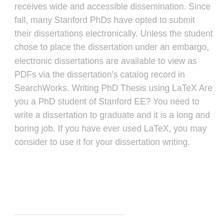receives wide and accessible dissemination. Since fall, many Stanford PhDs have opted to submit their dissertations electronically. Unless the student chose to place the dissertation under an embargo, electronic dissertations are available to view as PDFs via the dissertation's catalog record in SearchWorks. Writing PhD Thesis using LaTeX Are you a PhD student of Stanford EE? You need to write a dissertation to graduate and it is a long and boring job. If you have ever used LaTeX, you may consider to use it for your dissertation writing.
............................................................................